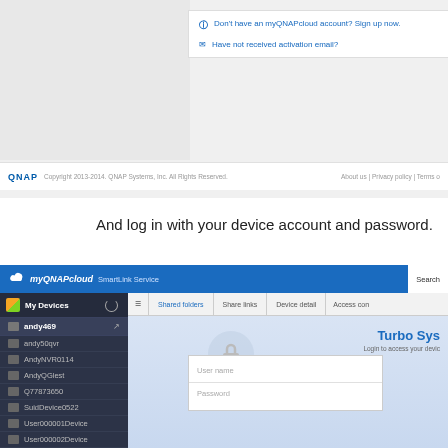[Figure (screenshot): Top portion of myQNAPcloud website showing sign-up/activation links and QNAP footer bar]
And log in with your device account and password.
[Figure (screenshot): myQNAPcloud SmartLink Service interface showing My Devices sidebar with device list (andy469, andy50qvr, AndyNVR0114, AndyQGlest, Q77873650, SuidDevice0522, User000001Device, User000002Device, User000003Device) and Turbo Station login panel with User name and Password fields]